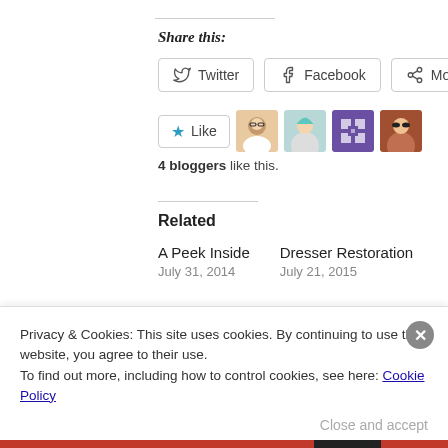Share this:
Twitter   Facebook   More
[Figure (other): Like button with star icon and 4 blogger avatars]
4 bloggers like this.
Related
A Peek Inside
July 31, 2014
Dresser Restoration
July 21, 2015
Privacy & Cookies: This site uses cookies. By continuing to use this website, you agree to their use.
To find out more, including how to control cookies, see here: Cookie Policy
Close and accept